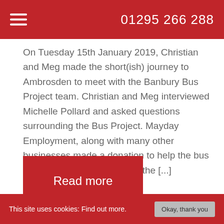01295 266 288
On Tuesday 15th January 2019, Christian and Meg made the short(ish) journey to Ambrosden to meet with the Banbury Bus Project team. Christian and Meg interviewed Michelle Pollard and asked questions surrounding the Bus Project. Mayday Employment, along with many other businesses made a donation to help the bus project survive, for now. But the [...]
Read more
This site uses cookies: Find out more.  Okay, thank you